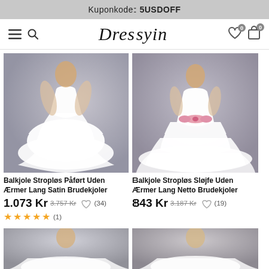Kuponkode: 5USDOFF
[Figure (screenshot): Dressyin webshop navigation bar with hamburger menu, search icon, Dressyin logo, wishlist (0) and cart (0) icons]
[Figure (photo): White strapless ball gown wedding dress with layered satin skirt against grey studio background]
Balkjole Stropløs Påført Uden Ærmer Lang Satin Brudekjoler
1.073 Kr 3.757 Kr (34) ★★★★★ (1)
[Figure (photo): White strapless ball gown wedding dress with pink bow belt against grey studio background]
Balkjole Stropløs Sløjfe Uden Ærmer Lang Netto Brudekjoler
843 Kr 3.187 Kr (19)
[Figure (photo): Partial view of wedding dress product at bottom left — cropped]
[Figure (photo): Partial view of wedding dress product at bottom right — cropped]